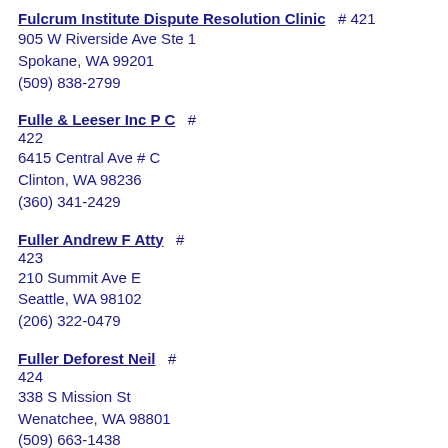Fulcrum Institute Dispute Resolution Clinic  # 421
905 W Riverside Ave Ste 1
Spokane, WA 99201
(509) 838-2799
Fulle & Leeser Inc P C  # 422
6415 Central Ave # C
Clinton, WA 98236
(360) 341-2429
Fuller Andrew F Atty  # 423
210 Summit Ave E
Seattle, WA 98102
(206) 322-0479
Fuller Deforest Neil  # 424
338 S Mission St
Wenatchee, WA 98801
(509) 663-1438
Funk Stephen J  # 425
14700 Ne 8th St Ste 100
Bellevue, WA 98007
(425) 746-7992
Furgason Samuel L Inc